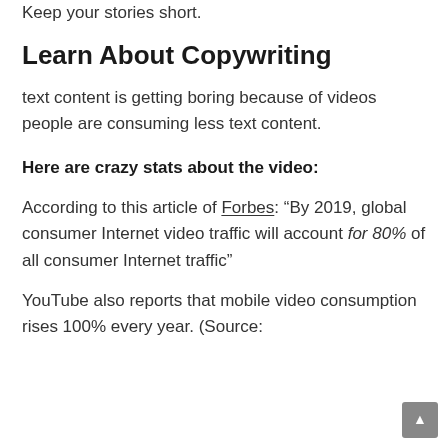Keep your stories short.
Learn About Copywriting
text content is getting boring because of videos people are consuming less text content.
Here are crazy stats about the video:
According to this article of Forbes: “By 2019, global consumer Internet video traffic will account for 80% of all consumer Internet traffic”
YouTube also reports that mobile video consumption rises 100% every year. (Source: